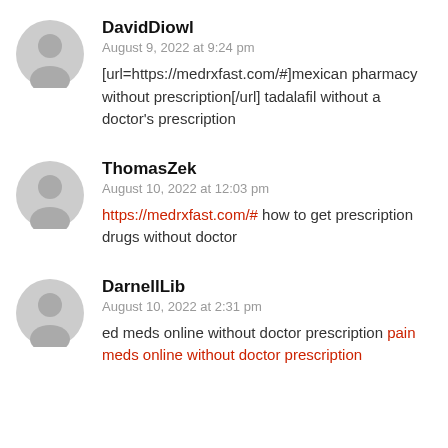DavidDiowl
August 9, 2022 at 9:24 pm
[url=https://medrxfast.com/#]mexican pharmacy without prescription[/url] tadalafil without a doctor’s prescription
ThomasZek
August 10, 2022 at 12:03 pm
https://medrxfast.com/# how to get prescription drugs without doctor
DarnellLib
August 10, 2022 at 2:31 pm
ed meds online without doctor prescription pain meds online without doctor prescription